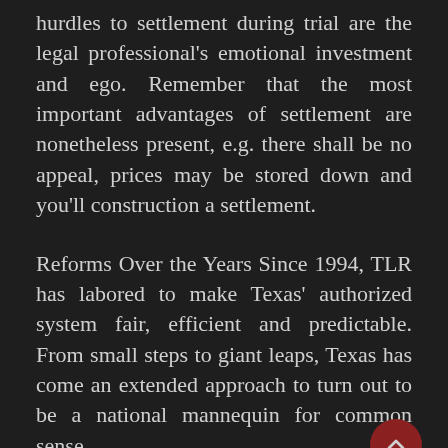hurdles to settlement during trial are the legal professional's emotional investment and ego. Remember that the most important advantages of settlement are nonetheless present, e.g. there shall be no appeal, prices may be stored down and you'll construction a settlement.
Reforms Over the Years Since 1994, TLR has labored to make Texas' authorized system fair, efficient and predictable. From small steps to giant leaps, Texas has come an extended approach to turn out to be a national mannequin for common sense